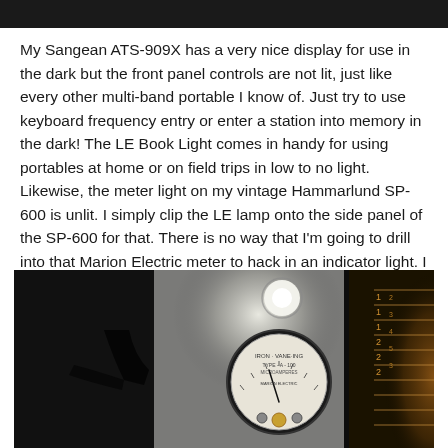My Sangean ATS-909X has a very nice display for use in the dark but the front panel controls are not lit, just like every other multi-band portable I know of. Just try to use keyboard frequency entry or enter a station into memory in the dark! The LE Book Light comes in handy for using portables at home or on field trips in low to no light. Likewise, the meter light on my vintage Hammarlund SP-600 is unlit. I simply clip the LE lamp onto the side panel of the SP-600 for that. There is no way that I'm going to drill into that Marion Electric meter to hack in an indicator light. I can also read the WRTH from the LE Book Light.
[Figure (photo): A dark photograph showing a vintage radio meter (Hammarlund SP-600 Marion Electric meter) lit by a small LED book light clipped to the side panel, with a radio dial visible on the right side of the image.]